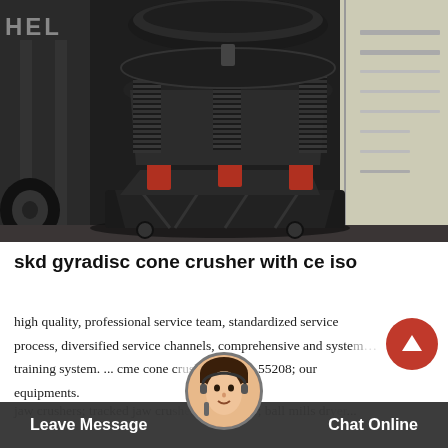[Figure (photo): A cone crusher machine (gyradisc type) on a forklift or loading area, with black body, red hydraulic accents, and coil springs visible. A white shipping container is in the background on the right.]
skd gyradisc cone crusher with ce iso
high quality, professional service team, standardized service process, diversified service channels, comprehensive and systematic training system. ... cme cone crusher parts 55208; our equipments. jaw crushers; tracked jaw crushers; sand maker; ball mills dryer...
Leave Message  Chat Online